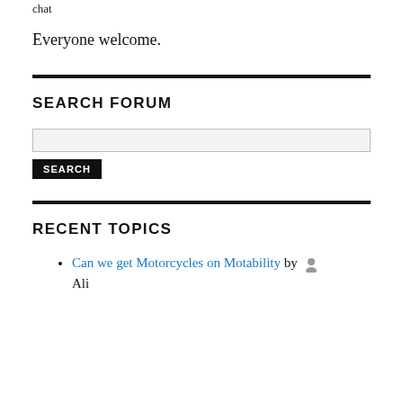chat
Everyone welcome.
SEARCH FORUM
[Figure (other): Search forum input box and search button]
RECENT TOPICS
Can we get Motorcycles on Motability by [user icon] Ali